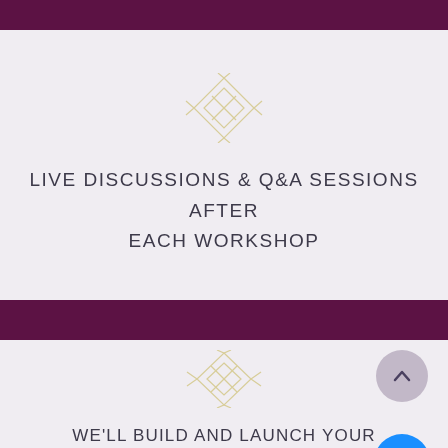[Figure (illustration): Decorative geometric diamond/star ornament in gold/tan outline style]
LIVE DISCUSSIONS & Q&A SESSIONS AFTER EACH WORKSHOP
[Figure (illustration): Decorative geometric star/compass ornament in gold/tan outline style]
WE'LL BUILD AND LAUNCH YOUR BUSINESS TOGETHER DURING JUST 3